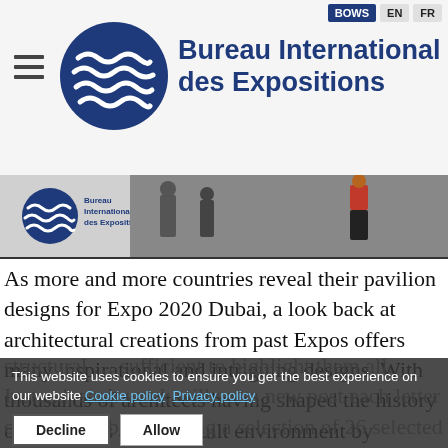Bureau International des Expositions | BOWS EN FR
[Figure (screenshot): Article banner image strip showing Bureau International des Expositions logo and people walking]
As more and more countries reveal their pavilion designs for Expo 2020 Dubai, a look back at architectural creations from past Expos offers many inspirational and intriguing designs. With thousands of architects having shaped the history of structures and the built environment by designing bold pavilions, str...sufficient...highlight them all. Instead, each week will see a new post each letter of the alphabet, offering a selection of 26 selected figures in the world of arc...
This website uses cookies to ensure you get the best experience on our website Cookie policy  Privacy policy
Decline  Allow  Cookies Settings  Necessary | Preferences | Statistics